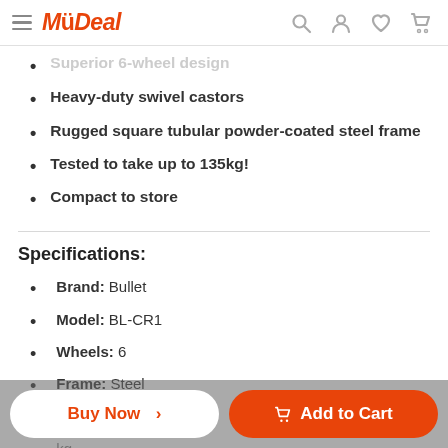MyDeal
Superior 6-wheel design (faded/partial)
Heavy-duty swivel castors
Rugged square tubular powder-coated steel frame
Tested to take up to 135kg!
Compact to store
Specifications:
Brand: Bullet
Model: BL-CR1
Wheels: 6
Frame: Steel
Finish: Powder-coated
Capacity: ...kg (partially visible)
Cushion Colour: Black (partially visible)